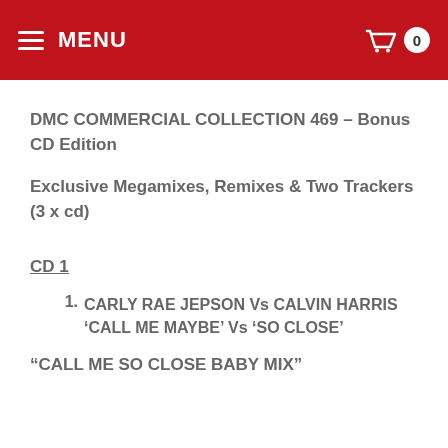MENU | 0
DMC COMMERCIAL COLLECTION 469 – Bonus CD Edition
Exclusive Megamixes, Remixes & Two Trackers (3 x cd)
CD 1
1. CARLY RAE JEPSON Vs CALVIN HARRIS 'CALL ME MAYBE' Vs 'SO CLOSE'
“CALL ME SO CLOSE BABY MIX”